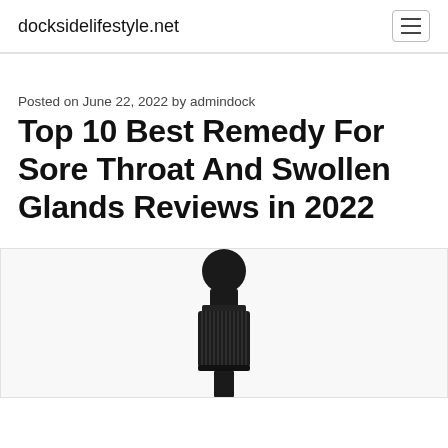docksidelifestyle.net
Posted on June 22, 2022 by admindock
Top 10 Best Remedy For Sore Throat And Swollen Glands Reviews in 2022
[Figure (photo): A black dropper bottle top with ribbed cap, partially visible, on a light background]